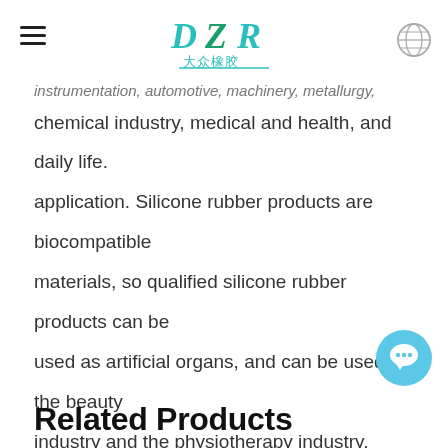DZR 大众橡胶
instrumentation, automotive, machinery, metallurgy,
chemical industry, medical and health, and daily life.
application. Silicone rubber products are biocompatible
materials, so qualified silicone rubber products can be
used as artificial organs, and can be used in the beauty
industry and the physiotherapy industry.
Related Products